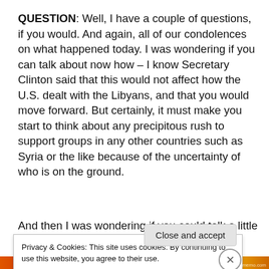QUESTION: Well, I have a couple of questions, if you would. And again, all of our condolences on what happened today. I was wondering if you can talk about now how – I know Secretary Clinton said that this would not affect how the U.S. dealt with the Libyans, and that you would move forward. But certainly, it must make you start to think about any precipitous rush to support groups in any other countries such as Syria or the like because of the uncertainty of who is on the ground.
And then I was wondering if you could talk a little bit more
Privacy & Cookies: This site uses cookies. By continuing to use this website, you agree to their use.
To find out more, including how to control cookies, see here: Cookie Policy